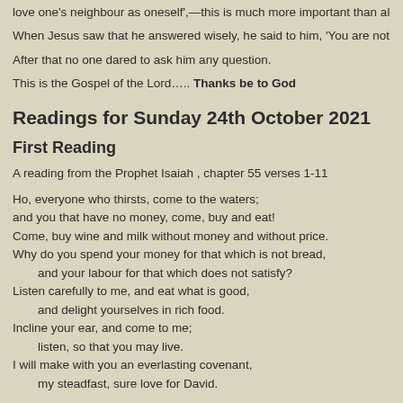love one's neighbour as oneself',—this is much more important than all whole bu
When Jesus saw that he answered wisely, he said to him, 'You are not far from th
After that no one dared to ask him any question.
This is the Gospel of the Lord….. Thanks be to God
Readings for Sunday 24th October 2021
First Reading
A reading from the Prophet Isaiah , chapter 55 verses 1-11
Ho, everyone who thirsts,  come to the waters;
and you that have no money,   come, buy and eat!
Come, buy wine and milk  without money and without price.
Why do you spend your money for that which is not bread,
   and your labour for that which does not satisfy?
Listen carefully to me, and eat what is good,
   and delight yourselves in rich food.
Incline your ear, and come to me;
   listen, so that you may live.
I will make with you an everlasting covenant,
   my steadfast, sure love for David.